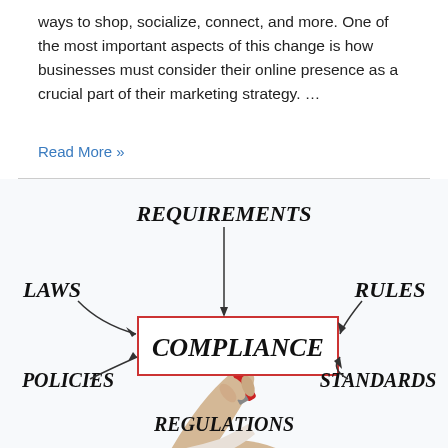ways to shop, socialize, connect, and more. One of the most important aspects of this change is how businesses must consider their online presence as a crucial part of their marketing strategy. …
Read More »
[Figure (infographic): Compliance mind-map diagram showing a hand writing 'COMPLIANCE' in a red-bordered box, with arrows connecting to: REQUIREMENTS (top), LAWS (left), RULES (right), POLICIES (bottom-left), STANDARDS (bottom-right), REGULATIONS (bottom-center)]